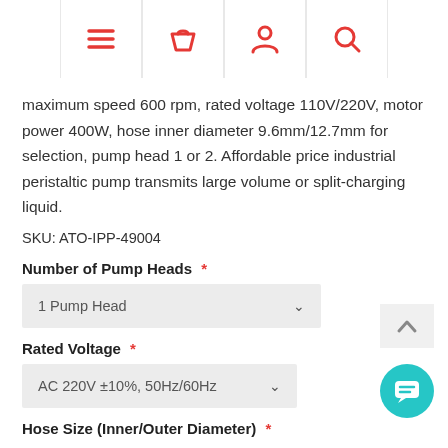[Navigation bar with menu, cart, account, search icons]
maximum speed 600 rpm, rated voltage 110V/220V, motor power 400W, hose inner diameter 9.6mm/12.7mm for selection, pump head 1 or 2. Affordable price industrial peristaltic pump transmits large volume or split-charging liquid.
SKU: ATO-IPP-49004
Number of Pump Heads *
1 Pump Head
Rated Voltage *
AC 220V ±10%, 50Hz/60Hz
Hose Size (Inner/Outer Diameter) *